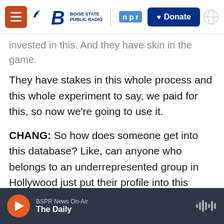Boise State Public Radio | NPR | Donate
invested in this. And they have skin in the game. They have stakes in this whole process and this whole experiment to say, we paid for this, so now we're going to use it.
CHANG: So how does someone get into this database? Like, can anyone who belongs to an underrepresented group in Hollywood just put their profile into this database?
DUVERNAY: Exactly. It's really easy. It's kind of like IMDb meets LinkedIn. It's LinkedIn for below the line in the entertainment industry. And just so people know, below the line is basically the scroll
BSPR News On-Air | The Daily